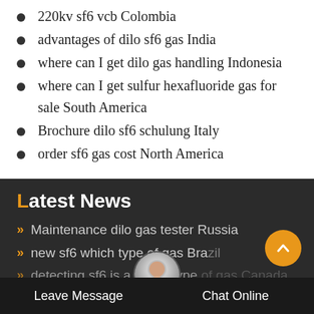220kv sf6 vcb Colombia
advantages of dilo sf6 gas India
where can I get dilo gas handling Indonesia
where can I get sulfur hexafluoride gas for sale South America
Brochure dilo sf6 schulung Italy
order sf6 gas cost North America
Latest News
Maintenance dilo gas tester Russia
new sf6 which type of gas Brazil
detecting sf6 is a which type of gas Canada
Leave Message   Chat Online